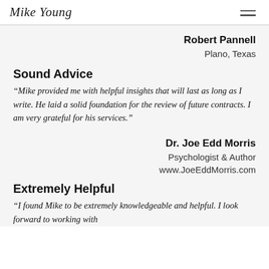Mike Young Auctions logo and navigation
Robert Pannell
Plano, Texas
Sound Advice
“Mike provided me with helpful insights that will last as long as I write. He laid a solid foundation for the review of future contracts. I am very grateful for his services.”
Dr. Joe Edd Morris
Psychologist & Author
www.JoeEddMorris.com
Extremely Helpful
“I found Mike to be extremely knowledgeable and helpful. I look forward to working with